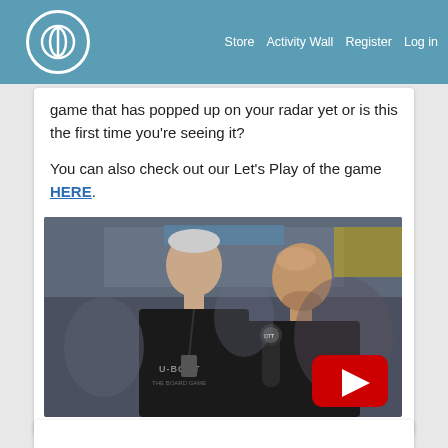Store  Activity Wall  Register  Log in
game that has popped up on your radar yet or is this the first time you're seeing it?
You can also check out our Let's Play of the game HERE.
[Figure (photo): Two men at a convention/expo, one wearing a U-Boot game shirt and the other holding a microphone with an OnTableTop logo, with a YouTube play button overlay in the bottom right.]